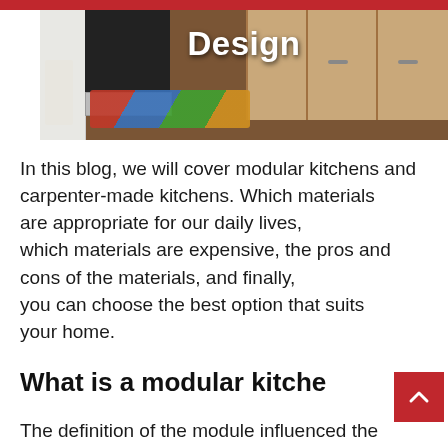[Figure (photo): Kitchen interior photo showing wooden cabinets, oven, colorful rug on wood floor, with text 'Design' overlaid in white bold font]
In this blog, we will cover modular kitchens and carpenter-made kitchens. Which materials are appropriate for our daily lives, which materials are expensive, the pros and cons of the materials, and finally, you can choose the best option that suits your home.
What is a modular kitche
The definition of the module influenced the